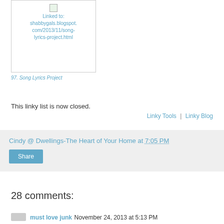[Figure (other): Thumbnail image linked to shabbygals.blogspot.com/2013/11/song-lyrics-project.html]
97. Song Lyrics Project
This linky list is now closed.
Linky Tools  |  Linky Blog
Cindy @ Dwellings-The Heart of Your Home at 7:05 PM
Share
28 comments:
must love junk  November 24, 2013 at 5:13 PM